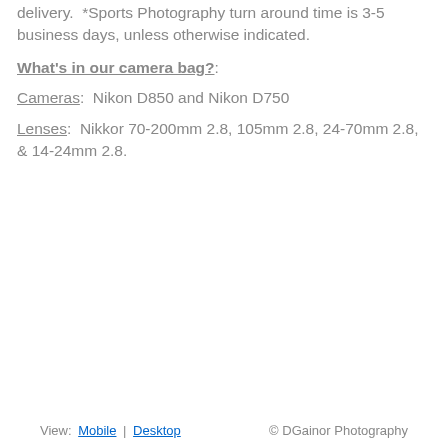delivery.  *Sports Photography turn around time is 3-5 business days, unless otherwise indicated.
What's in our camera bag?:
Cameras:  Nikon D850 and Nikon D750
Lenses:  Nikkor 70-200mm 2.8, 105mm 2.8, 24-70mm 2.8, & 14-24mm 2.8.
View:  Mobile | Desktop  © DGainor Photography